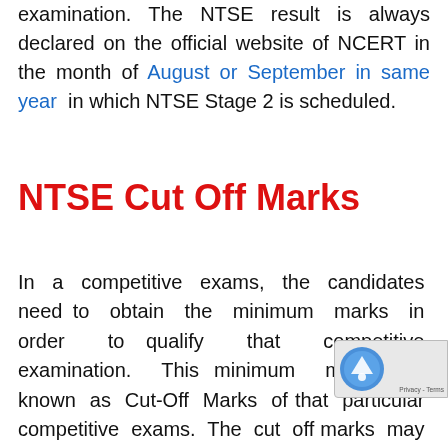examination. The NTSE result is always declared on the official website of NCERT in the month of August or September in same year in which NTSE Stage 2 is scheduled.
NTSE Cut Off Marks
In a competitive exams, the candidates need to obtain the minimum marks in order to qualify that competitive examination. This minimum marks is known as Cut-Off Marks of that particular competitive exams. The cut off marks may be either for each subjects or each papers or overall final selections etc. The cut off marks is set for reducing the shortlisted candidates. The cut off marks is based on